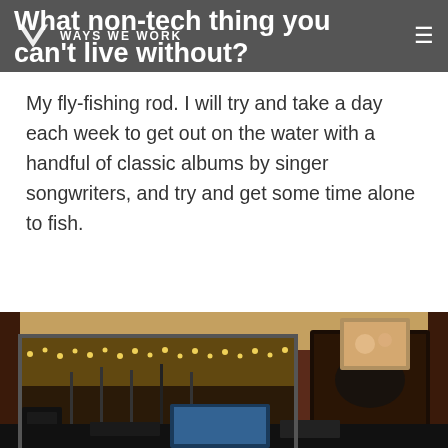Ways We Work
What non-tech thing you can't live without?
My fly-fishing rod. I will try and take a day each week to get out on the water with a handful of classic albums by singer songwriters, and try and get some time alone to fish.
What does your workspace look like?
[Figure (photo): Interior photo of a recording studio with dark red/brown walls, a window into a live room with string lights, mixing equipment, computer monitor, and framed artwork on walls.]